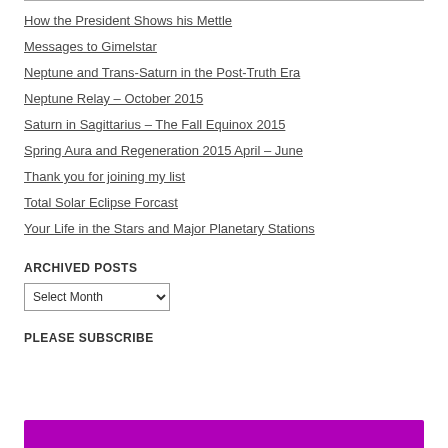How the President Shows his Mettle
Messages to Gimelstar
Neptune and Trans-Saturn in the Post-Truth Era
Neptune Relay – October 2015
Saturn in Sagittarius – The Fall Equinox 2015
Spring Aura and Regeneration 2015 April – June
Thank you for joining my list
Total Solar Eclipse Forcast
Your Life in the Stars and Major Planetary Stations
ARCHIVED POSTS
Select Month (dropdown)
PLEASE SUBSCRIBE
[Figure (other): Purple/magenta colored bar at the bottom of the page]